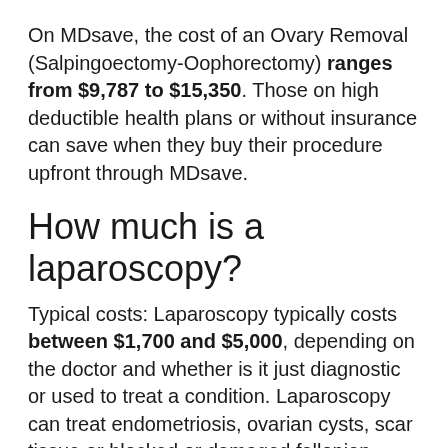On MDsave, the cost of an Ovary Removal (Salpingoectomy-Oophorectomy) ranges from $9,787 to $15,350. Those on high deductible health plans or without insurance can save when they buy their procedure upfront through MDsave.
How much is a laparoscopy?
Typical costs: Laparoscopy typically costs between $1,700 and $5,000, depending on the doctor and whether is it just diagnostic or used to treat a condition. Laparoscopy can treat endometriosis, ovarian cysts, scar tissue or blocked or damaged fallopian tubes.